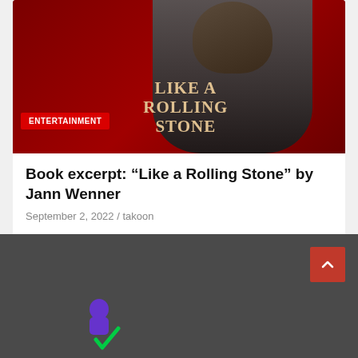[Figure (photo): Book cover / promotional image for 'Like a Rolling Stone' by Jann Wenner, showing a man resting his head on his hand against a dark red background, with the book title text overlaid. An ENTERTAINMENT badge is shown at lower left of the image.]
Book excerpt: “Like a Rolling Stone” by Jann Wenner
September 2, 2022 / takoon
[Figure (logo): Small colorful logo icon in the footer area, appearing to show a purple/blue figure with green checkmark element]